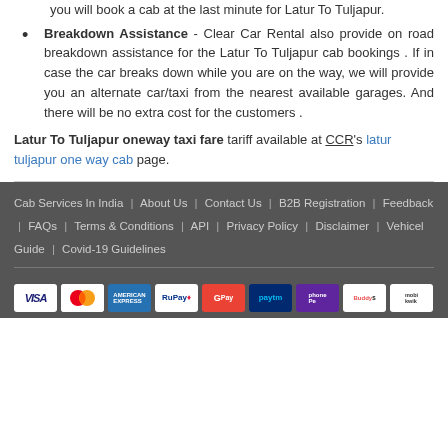you will book a cab at the last minute for Latur To Tuljapur.
Breakdown Assistance - Clear Car Rental also provide on road breakdown assistance for the Latur To Tuljapur cab bookings . If in case the car breaks down while you are on the way, we will provide you an alternate car/taxi from the nearest available garages. And there will be no extra cost for the customers .
Latur To Tuljapur oneway taxi fare tariff available at CCR's latur tuljapur one way cab page.
Cab Services In India | About Us | Contact Us | B2B Registration | Feedback | FAQs | Terms & Conditions | API | Privacy Policy | Disclaimer | Vehicel Guide | Covid-19 Guidelines
[Figure (other): Payment method logos: VISA, MasterCard, American Express, RuPay, G-Pay, Paytm, PhonePe, BuddyPay, Mobikwik]